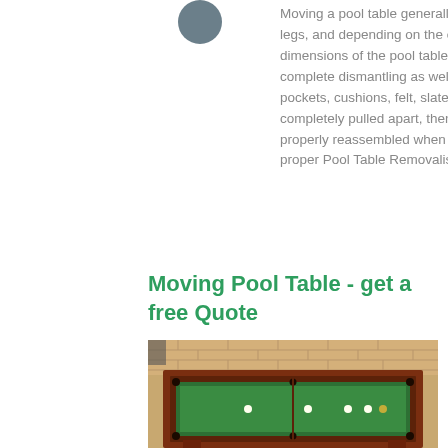[Figure (illustration): Circular avatar/profile icon, dark gray]
Moving a pool table generally requires removing the legs, and depending on the construction and dimensions of the pool table, the top may require complete dismantling as well. All the pool table pockets, cushions, felt, slates, frame etc. are completely pulled apart, then of course to be properly reassembled when delivered. Hiring a proper Pool Table Removalists actually saves.
Moving Pool Table - get a free Quote
[Figure (photo): Photo of a green felt pool/snooker table with mahogany frame, set outdoors against a brick wall]